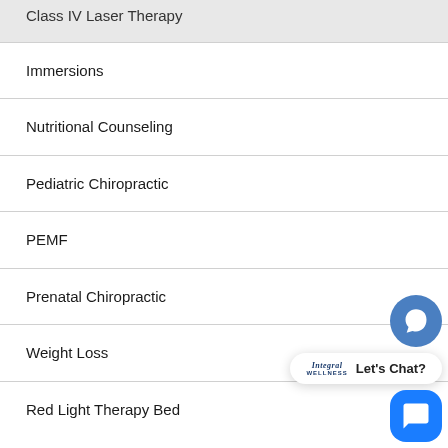Class IV Laser Therapy
Immersions
Nutritional Counseling
Pediatric Chiropractic
PEMF
Prenatal Chiropractic
Weight Loss
Red Light Therapy Bed